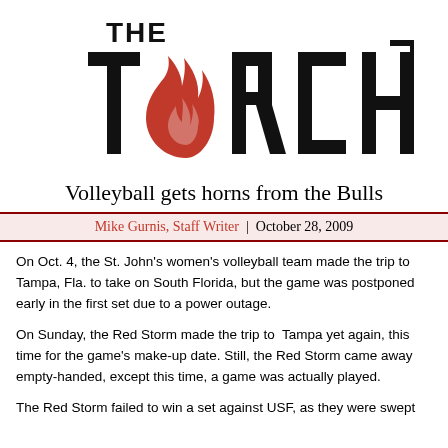[Figure (logo): The Torch newspaper logo — bold black letters spelling TORCH with a red flame replacing the O, and 'THE' above in smaller black text]
Volleyball gets horns from the Bulls
Mike Gurnis, Staff Writer | October 28, 2009
On Oct. 4, the St. John's women's volleyball team made the trip to Tampa, Fla. to take on South Florida, but the game was postponed early in the first set due to a power outage.
On Sunday, the Red Storm made the trip to Tampa yet again, this time for the game's make-up date. Still, the Red Storm came away empty-handed, except this time, a game was actually played.
The Red Storm failed to win a set against USF, as they were swept